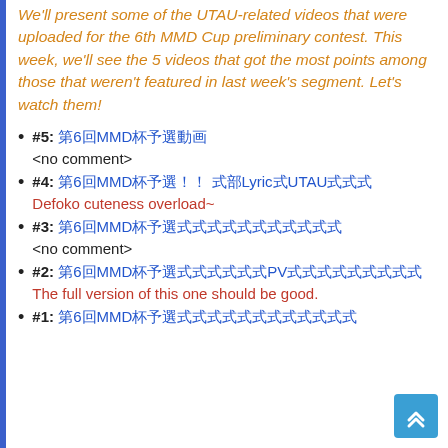We'll present some of the UTAU-related videos that were uploaded for the 6th MMD Cup preliminary contest. This week, we'll see the 5 videos that got the most points among those that weren't featured in last week's segment. Let's watch them!
#5: [Japanese title] <no comment>
#4: [Japanese title] Defoko cuteness overload~
#3: [Japanese title] <no comment>
#2: [Japanese title] The full version of this one should be good.
#1: [Japanese title]